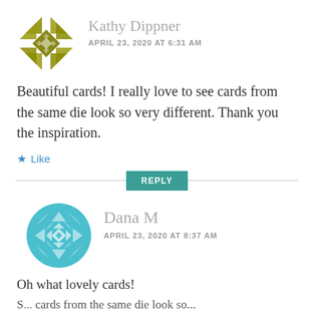[Figure (illustration): Olive/yellow-green geometric star/snowflake avatar icon for Kathy Dippner]
Kathy Dippner
APRIL 23, 2020 AT 6:31 AM
Beautiful cards! I really love to see cards from the same die look so very different. Thank you the inspiration.
★ Like
REPLY
[Figure (illustration): Teal/cyan geometric circular quilt-pattern avatar icon for Dana M]
Dana M
APRIL 23, 2020 AT 8:37 AM
Oh what lovely cards!
S... cards from the same die look so...